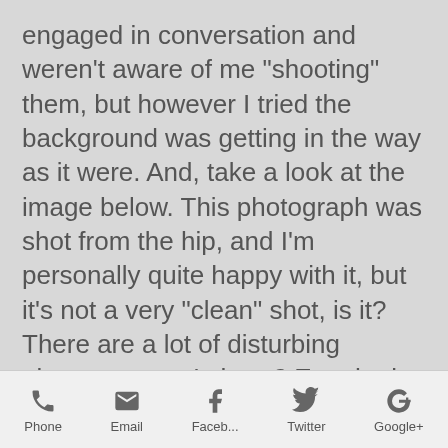engaged in conversation and weren't aware of me "shooting" them, but however I tried the background was getting in the way as it were. And, take a look at the image below. This photograph was shot from the hip, and I'm personally quite happy with it, but it's not a very "clean" shot, is it? There are a lot of disturbing elements, aren't there? E.g. the leg beneath the bag in the centre, and the tree tops above the bus, etc. Not what I would call a "clean" shot. Just a shot, shot on the streets on an everyday life day. My shots are not clean, because life on the streets
Phone  Email  Faceb...  Twitter  Google+